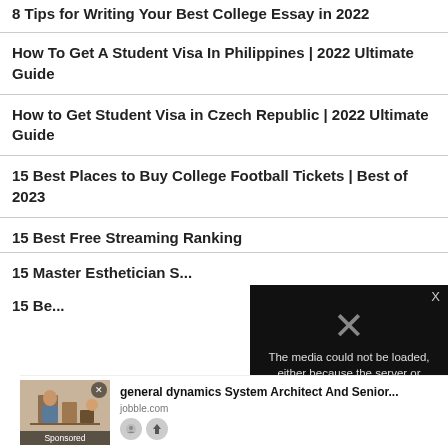8 Tips for Writing Your Best College Essay in 2022
How To Get A Student Visa In Philippines | 2022 Ultimate Guide
How to Get Student Visa in Czech Republic | 2022 Ultimate Guide
15 Best Places to Buy College Football Tickets | Best of 2023
15 Best Free Streaming Ranking
15 Master Esthetician S...
[Figure (screenshot): Video player error overlay: 'The media could not be loaded, either because the server or network failed or because the format is not supported.' with large X icon]
15 Be...
[Figure (infographic): Advertisement banner: general dynamics System Architect And Senior... from jobble.com with sponsored image thumbnail]